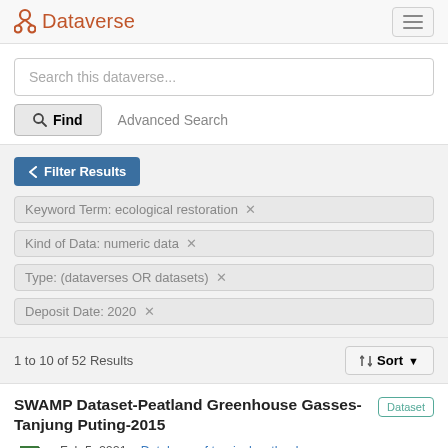Dataverse
Search this dataverse...
Find   Advanced Search
Filter Results
Keyword Term: ecological restoration ×
Kind of Data: numeric data ×
Type: (dataverses OR datasets) ×
Deposit Date: 2020 ×
1 to 10 of 52 Results
Sort
SWAMP Dataset-Peatland Greenhouse Gasses-Tanjung Puting-2015
Dataset
Feb 5, 2021 – Database of tropical wetlands carbon survey: Greenhouse Gasses (GHG...)